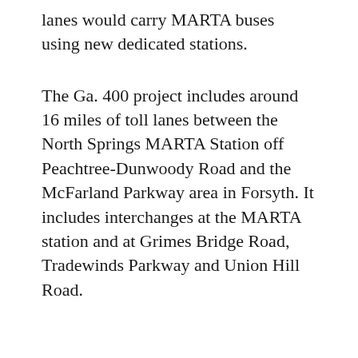lanes would carry MARTA buses using new dedicated stations.
The Ga. 400 project includes around 16 miles of toll lanes between the North Springs MARTA Station off Peachtree-Dunwoody Road and the McFarland Parkway area in Forsyth. It includes interchanges at the MARTA station and at Grimes Bridge Road, Tradewinds Parkway and Union Hill Road.